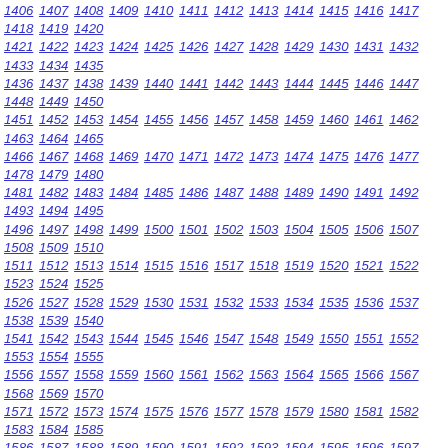1406 1407 1408 1409 1410 1411 1412 1413 1414 1415 1416 1417 1418 1419 1420 1421 1422 1423 1424 1425 1426 1427 1428 1429 1430 1431 1432 1433 1434 1435 1436 1437 1438 1439 1440 1441 1442 1443 1444 1445 1446 1447 1448 1449 1450 1451 1452 1453 1454 1455 1456 1457 1458 1459 1460 1461 1462 1463 1464 1465 1466 1467 1468 1469 1470 1471 1472 1473 1474 1475 1476 1477 1478 1479 1480 1481 1482 1483 1484 1485 1486 1487 1488 1489 1490 1491 1492 1493 1494 1495 1496 1497 1498 1499 1500 1501 1502 1503 1504 1505 1506 1507 1508 1509 1510 1511 1512 1513 1514 1515 1516 1517 1518 1519 1520 1521 1522 1523 1524 1525 1526 1527 1528 1529 1530 1531 1532 1533 1534 1535 1536 1537 1538 1539 1540 1541 1542 1543 1544 1545 1546 1547 1548 1549 1550 1551 1552 1553 1554 1555 1556 1557 1558 1559 1560 1561 1562 1563 1564 1565 1566 1567 1568 1569 1570 1571 1572 1573 1574 1575 1576 1577 1578 1579 1580 1581 1582 1583 1584 1585 1586 1587 1588 1589 1590 1591 1592 1593 1594 1595 1596 1597 1598 1599 1600 1601 1602 1603 1604 1605 1606 1607 1608 1609 1610 1611 1612 1613 1614 1615 1616 1617 1618 1619 1620 1621 1622 1623 1624 1625 1626 1627 1628 1629 1630 1631 1632 1633 1634 1635 1636 1637 1638 1639 1640 1641 1642 1643 1644 1645 1646 1647 1648 1649 1650 1651 1652 1653 1654 1655 1656 1657 1658 1659 1660 1661 1662 1663 1664 1665 1666 1667 1668 1669 1670 1671 1672 1673 1674 1675 1676 1677 1678 1679 1680 1681 1682 1683 1684 1685 1686 1687 1688 1689 1690 1691 1692 1693 1694 1695 1696 1697 1698 1699 1700 1701 1702 1703 1704 1705 1706 1707 1708 1709 1710 1711 1712 1713 1714 1715 1716 1717 1718 1719 1720 1721 1722 1723 1724 1725 1726 1727 1728 1729 1730 1731 1732 1733 1734 1735 1736 1737 1738 1739 1740 1741 1742 1743 1744 1745 1746 1747 1748 1749 1750 1751 1752 1753 1754 1755 1756 1757 1758 1759 1760 1761 1762 1763 1764 1765 1766 1767 1768 1769 1770 1771 1772 1773 1774 1775 1776 1777 1778 1779 1780 1781 1782 1783 1784 1785 1786 1787 1788 1789 1790 1791 1792 1793 1794 1795 1796 1797 1798 1799 1800 1801 1802 1803 1804 1805 1806 1807 1808 1809 1810 1811 1812 1813 1814 1815 1816 1817 1818 1819 1820 1821 1822 1823 1824 1825 1826 1827 1828 1829 1830 1831 1832 1833 1834 1835 1836 1837 1838 1839 1840 1841 1842 1843 1844 1845 1846 1847 1848 1849 1850 1851 1852 1853 1854 1855